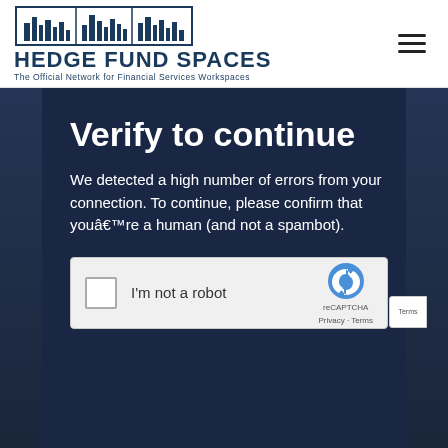[Figure (logo): Hedge Fund Spaces logo with city skyline icon, company name and tagline 'The Official Network for Financial Services Workspaces']
Verify to continue
We detected a high number of errors from your connection. To continue, please confirm that youâ€™re a human (and not a spambot).
[Figure (screenshot): reCAPTCHA widget with checkbox labeled 'I'm not a robot']